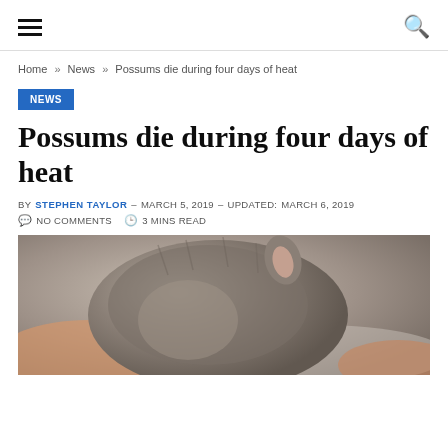Navigation header with hamburger menu and search icon
Home » News » Possums die during four days of heat
NEWS
Possums die during four days of heat
BY STEPHEN TAYLOR – MARCH 5, 2019 – UPDATED: MARCH 6, 2019
NO COMMENTS  3 MINS READ
[Figure (photo): Close-up photo of a possum being held in a person's hand, showing the animal's fur and ear against a blurred background.]